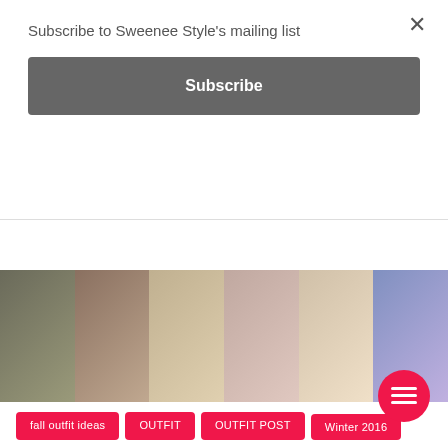Subscribe to Sweenee Style's mailing list
Subscribe
[Figure (photo): Row of six fashion outfit photos showing various women's outfits]
fall outfit ideas
OUTFIT
OUTFIT POST
Winter 2016
Winter Outfit Idea
Everyday Style: SWEATERS
ADRIENNE
January 26, 2016  /  3 Mins Read